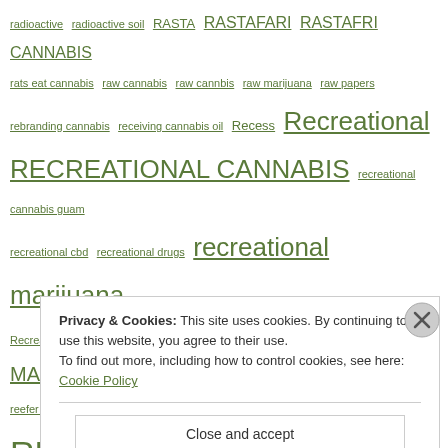Tag cloud with cannabis-related tags including: radioactive, radioactive soil, RASTA, RASTAFARI, RASTAFRI CANNABIS, rats eat cannabis, raw cannabis, raw cannbis, raw marijuana, raw papers, rebranding cannabis, receiving cannabis oil, Recess, Recreational, RECREATIONAL CANNABIS, recreational cannabis guam, recreational cbd, recreational drugs, recreational marijuana, Recreational marijuana is now legal in Nevada, RECREATIONAL MARYJ, recreational thc, recreational use, recreational weed, reefer, reefer maddness, reefer madness, referendum, REGIONAL, REGULATING CANNABIS, ReLeaf, religious cannabis, Remedy, resin, respiratory, retail cannabis market, RETINITIS, RETINITIS PIGMENTOSA, retreat, revenue cannabis aoaska, revenue colorado half billion, rheumatoid arthritis, rheumatopathy, Rhik Samadder, Rick
Privacy & Cookies: This site uses cookies. By continuing to use this website, you agree to their use. To find out more, including how to control cookies, see here: Cookie Policy
Close and accept